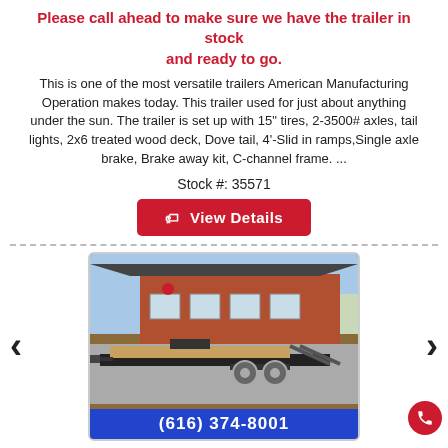Please call ahead to make sure we have the trailer in stock and ready to go.
This is one of the most versatile trailers American Manufacturing Operation makes today. This trailer used for just about anything under the sun. The trailer is set up with 15" tires, 2-3500# axles, tail lights, 2x6 treated wood deck, Dove tail, 4'-Slid in ramps,Single axle brake, Brake away kit, C-channel frame. ...
Stock #: 35571
[Figure (other): Red button labeled 'View Details' with a tag icon]
[Figure (photo): Photo of a flatbed trailer with wooden deck and dual axle wheels, parked in a lot in front of a brick building. Has carousel left/right arrows and a blue phone bar at the bottom showing (616) 374-8001.]